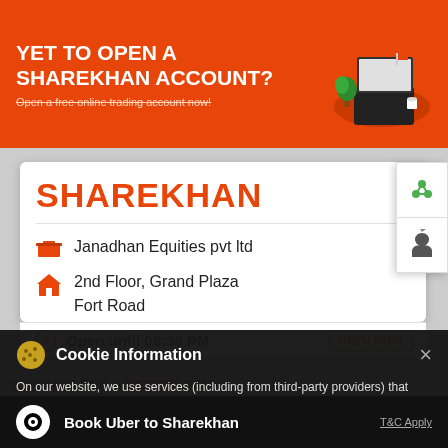YET TO OPEN A SHAREKHAN ACCOUNT?
Open a free online trading account now!
SHAREKHAN
Janadhan Equities pvt ltd
2nd Floor, Grand Plaza
Fort Road
Kannur - 670001
Open until 06:30 PM
Cookie Information
On our website, we use services (including from third-party providers) that help us to improve our online presence (optimization of website) and to display content that is geared to their interests. We need your consent before being able to use these services.
LOOKING FOR A BETTER DEMAT
Book Uber to Sharekhan
T&C Apply